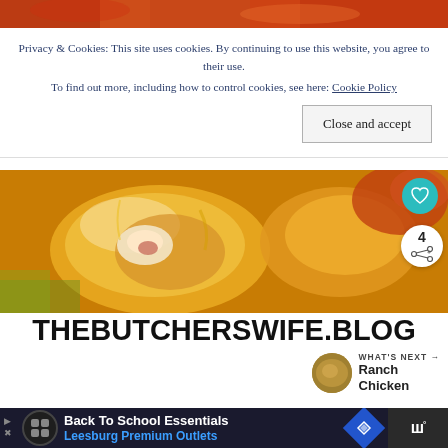[Figure (photo): Close-up food photo strip at top of page showing cooked meat/food in orange-red tones]
Privacy & Cookies: This site uses cookies. By continuing to use this website, you agree to their use.
To find out more, including how to control cookies, see here: Cookie Policy
Close and accept
[Figure (photo): Close-up photo of glazed/sauced chicken pieces in golden-orange sauce]
THEBUTCHERSWIFE.BLOG
WHAT'S NEXT → Ranch Chicken
[Figure (photo): Advertisement banner: Back To School Essentials - Leesburg Premium Outlets]